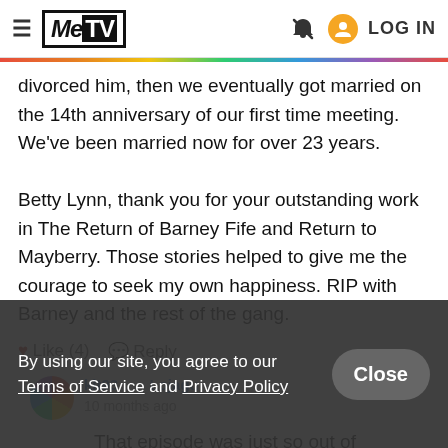MeTV — LOG IN
divorced him, then we eventually got married on the 14th anniversary of our first time meeting. We've been married now for over 23 years.

Betty Lynn, thank you for your outstanding work in The Return of Barney Fife and Return to Mayberry. Those stories helped to give me the courage to seek my own happiness. RIP with Barney and the rest of the gang.
♥ Like (4)   💬 Reply
By using our site, you agree to our Terms of Service and Privacy Policy
klt93 → Lojagu
10 months ago
That episode was just so out of character for the show. "Gee Barney, I